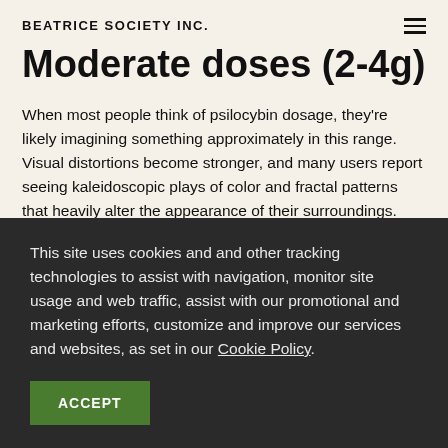BEATRICE SOCIETY INC.
Moderate doses (2-4g)
When most people think of psilocybin dosage, they’re likely imagining something approximately in this range. Visual distortions become stronger, and many users report seeing kaleidoscopic plays of color and fractal patterns that heavily alter the appearance of their surroundings.
Depth perception and balance may be affected, so unlike a museum dose
This site uses cookies and and other tracking technologies to assist with navigation, monitor site usage and web traffic, assist with our promotional and marketing efforts, customize and improve our services and websites, as set in our Cookie Policy
ACCEPT